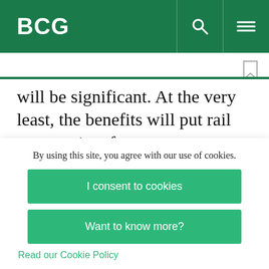BCG
will be significant. At the very least, the benefits will put rail systems in a far stronger position to remain competitive with autonomous road-bound transportation. Indeed, the alternative—not investing in digitization—could prove fatal to many of today's rail networks.
By using this site, you agree with our use of cookies.
I consent to cookies
Want to know more?
Read our Cookie Policy